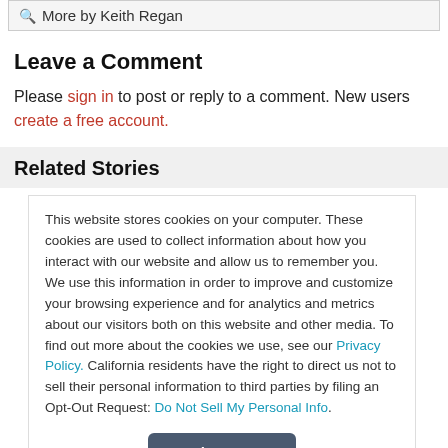More by Keith Regan
Leave a Comment
Please sign in to post or reply to a comment. New users create a free account.
Related Stories
This website stores cookies on your computer. These cookies are used to collect information about how you interact with our website and allow us to remember you. We use this information in order to improve and customize your browsing experience and for analytics and metrics about our visitors both on this website and other media. To find out more about the cookies we use, see our Privacy Policy. California residents have the right to direct us not to sell their personal information to third parties by filing an Opt-Out Request: Do Not Sell My Personal Info.
Accept